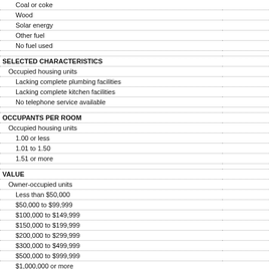| Category | Value |
| --- | --- |
| Coal or coke |  |
| Wood |  |
| Solar energy |  |
| Other fuel |  |
| No fuel used |  |
| SELECTED CHARACTERISTICS |  |
| Occupied housing units | 33 |
| Lacking complete plumbing facilities |  |
| Lacking complete kitchen facilities |  |
| No telephone service available |  |
| OCCUPANTS PER ROOM |  |
| Occupied housing units | 33 |
| 1.00 or less | 32 |
| 1.01 to 1.50 |  |
| 1.51 or more |  |
| VALUE |  |
| Owner-occupied units | 18 |
| Less than $50,000 |  |
| $50,000 to $99,999 | 3 |
| $100,000 to $149,999 | 5 |
| $150,000 to $199,999 | 3 |
| $200,000 to $299,999 | 3 |
| $300,000 to $499,999 |  |
| $500,000 to $999,999 |  |
| $1,000,000 or more |  |
| Median (dollars) | 146 |
| MORTGAGE STATUS |  |
| Owner-occupied units | 18 |